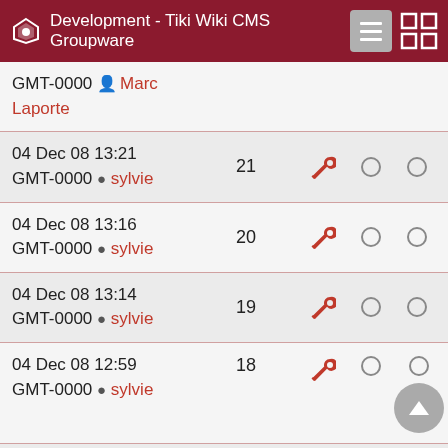Development - Tiki Wiki CMS Groupware
| Date/User | Rev | Wrench | Radio1 | Radio2 |
| --- | --- | --- | --- | --- |
| GMT-0000 Marc Laporte |  |  |  |  |
| 04 Dec 08 13:21 GMT-0000 sylvie | 21 | wrench | ○ | ○ |
| 04 Dec 08 13:16 GMT-0000 sylvie | 20 | wrench | ○ | ○ |
| 04 Dec 08 13:14 GMT-0000 sylvie | 19 | wrench | ○ | ○ |
| 04 Dec 08 12:59 GMT-0000 sylvie | 18 | wrench | ○ | ○ |
| 04 Dec 08 12:57 GMT-0000 sylvie | 17 | wrench | ○ | ○ |